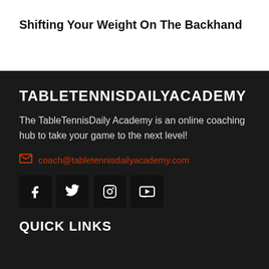Shifting Your Weight On The Backhand
TABLETENNISDAILYACADEMY
The TableTennisDaily Academy is an online coaching hub to take your game to the next level!
coach@tabletennisdailyacademy.com
[Figure (infographic): Social media icon buttons: Facebook, Twitter, Instagram, YouTube]
QUICK LINKS